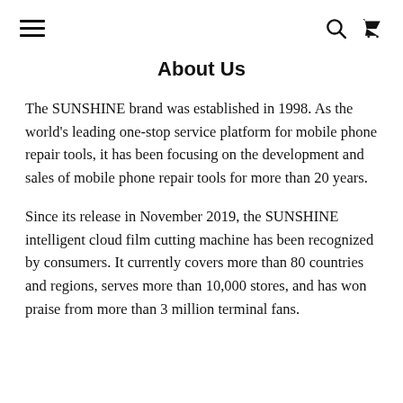≡  🔍  🛒
About Us
The SUNSHINE brand was established in 1998. As the world's leading one-stop service platform for mobile phone repair tools, it has been focusing on the development and sales of mobile phone repair tools for more than 20 years.
Since its release in November 2019, the SUNSHINE intelligent cloud film cutting machine has been recognized by consumers. It currently covers more than 80 countries and regions, serves more than 10,000 stores, and has won praise from more than 3 million terminal fans.